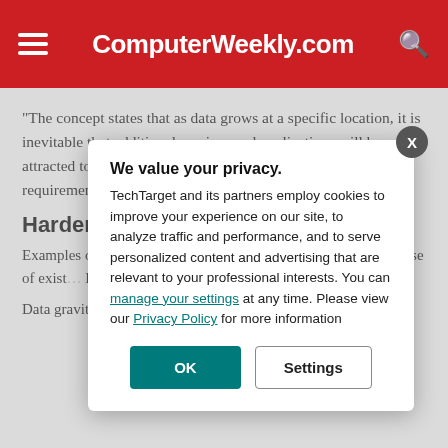ComputerWeekly.com
“The concept states that as data grows at a specific location, it is inevitable that additional services and applications will be attracted to the data due to latency and throughput requirements,” it says. “This, in effect, grows the mass
Harder to sca…
Examples of dat… datasets moving… which could be d… best use of exist… But it also begin… harder to scale t… applications.
Data gravity occ…
We value your privacy. TechTarget and its partners employ cookies to improve your experience on our site, to analyze traffic and performance, and to serve personalized content and advertising that are relevant to your professional interests. You can manage your settings at any time. Please view our Privacy Policy for more information